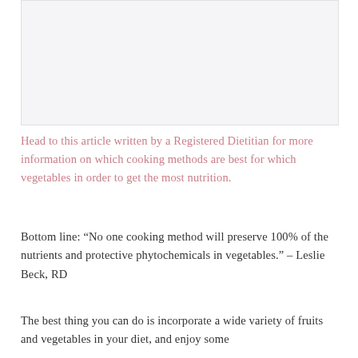[Figure (photo): Image placeholder for a food or vegetable cooking related photo]
Head to this article written by a Registered Dietitian for more information on which cooking methods are best for which vegetables in order to get the most nutrition.
Bottom line: “No one cooking method will preserve 100% of the nutrients and protective phytochemicals in vegetables.” – Leslie Beck, RD
The best thing you can do is incorporate a wide variety of fruits and vegetables in your diet, and enjoy some